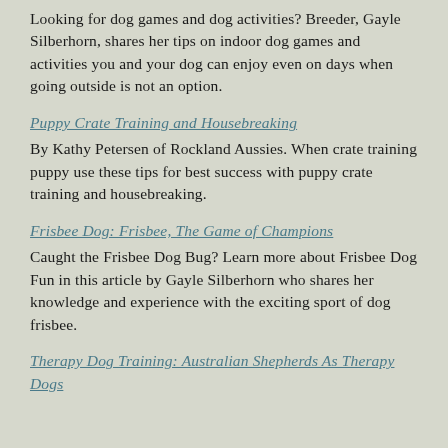Looking for dog games and dog activities? Breeder, Gayle Silberhorn, shares her tips on indoor dog games and activities you and your dog can enjoy even on days when going outside is not an option.
Puppy Crate Training and Housebreaking
By Kathy Petersen of Rockland Aussies. When crate training puppy use these tips for best success with puppy crate training and housebreaking.
Frisbee Dog: Frisbee, The Game of Champions
Caught the Frisbee Dog Bug? Learn more about Frisbee Dog Fun in this article by Gayle Silberhorn who shares her knowledge and experience with the exciting sport of dog frisbee.
Therapy Dog Training: Australian Shepherds As Therapy Dogs